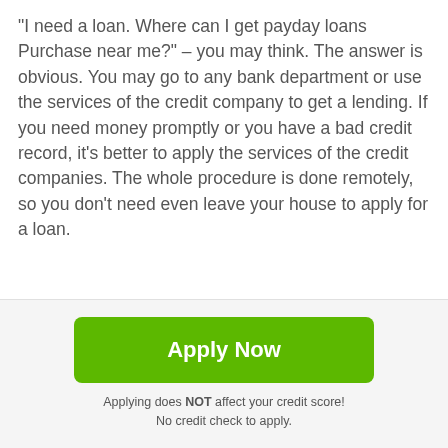“I need a loan. Where can I get payday loans Purchase near me?” – you may think. The answer is obvious. You may go to any bank department or use the services of the credit company to get a lending. If you need money promptly or you have a bad credit record, it’s better to apply the services of the credit companies. The whole procedure is done remotely, so you don’t need even leave your house to apply for a loan.
It’s quite easy to get a credit. Just follow some simple steps:
Prepare all the necessary documents and bank card details:
[Figure (other): Dark grey square button with white upward arrow icon]
Apply Now
Applying does NOT affect your credit score!
No credit check to apply.